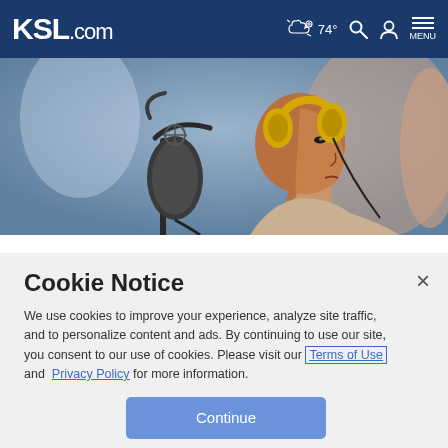KSL.com  74° MENU
[Figure (photo): A woman wearing yellow headphones speaks into a professional radio microphone in a broadcast studio setting, photographed from the side.]
Cookie Notice
We use cookies to improve your experience, analyze site traffic, and to personalize content and ads. By continuing to use our site, you consent to our use of cookies. Please visit our Terms of Use and Privacy Policy for more information.
Continue